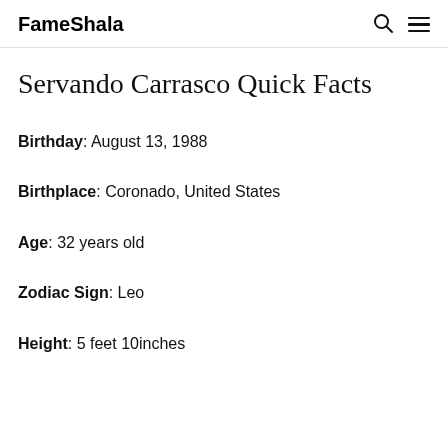FameShala
Servando Carrasco Quick Facts
Birthday: August 13, 1988
Birthplace: Coronado, United States
Age: 32 years old
Zodiac Sign: Leo
Height: 5 feet 10inches